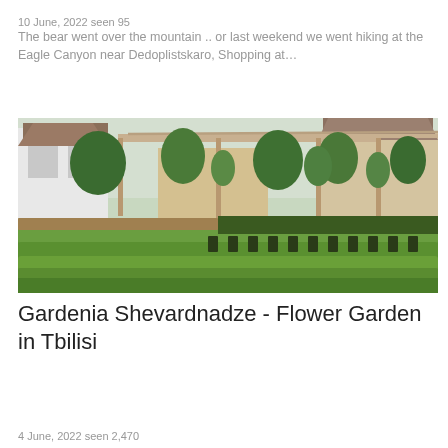10 June, 2022 seen 95
The bear went over the mountain .. or last weekend we went hiking at the Eagle Canyon near Dedoplistskaro, Shopping at…
[Figure (photo): Outdoor garden center or nursery with rows of green shrubs and potted plants in the foreground, a wooden pergola structure with climbing plants in the middle ground, and European-style houses with brown roofs in the background.]
Gardenia Shevardnadze - Flower Garden in Tbilisi
4 June, 2022 seen 2,470